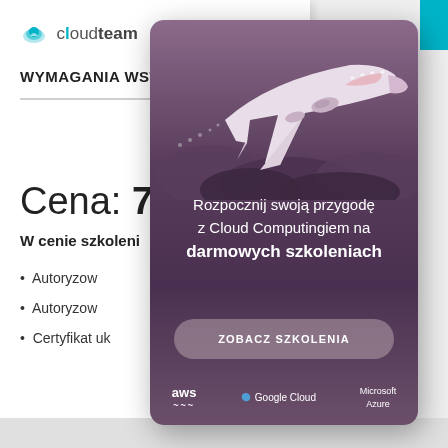[Figure (logo): Cloudteam logo with cloud icon and teal text]
WYMAGANIA WST
Cena: 730
W cenie szkoleni
Autoryzow
Autoryzow
Certyfikat uk
[Figure (infographic): Popup advertisement card with airplane illustration over purple/mauve gradient background. Text: 'Rozpocznij swoją przygodę z Cloud Computingiem na darmowych szkoleniach'. Button: 'ZOBACZ SZKOLENIA'. Logos: aws, Google Cloud, Microsoft Azure.]